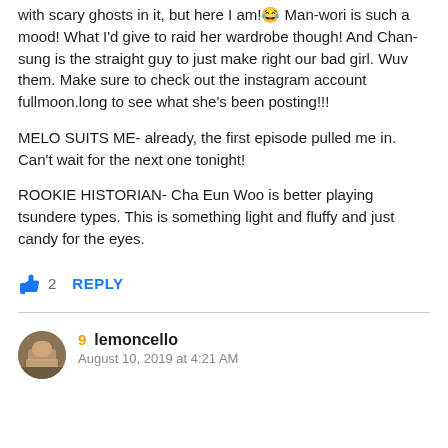with scary ghosts in it, but here I am!😂 Man-wori is such a mood! What I'd give to raid her wardrobe though! And Chan-sung is the straight guy to just make right our bad girl. Wuv them. Make sure to check out the instagram account fullmoon.long to see what she's been posting!!!
MELO SUITS ME- already, the first episode pulled me in. Can't wait for the next one tonight!
ROOKIE HISTORIAN- Cha Eun Woo is better playing tsundere types. This is something light and fluffy and just candy for the eyes.
👍 2  REPLY
9 lemoncello
August 10, 2019 at 4:21 AM